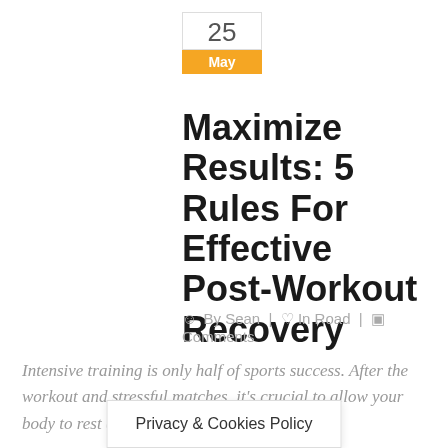25 May
Maximize Results: 5 Rules For Effective Post-Workout Recovery
By Sean | In Road | Comments
Intensive training is only half of sports success. After the workout and stressful matches, it's crucial to allow your body to rest and recover.
Those who are serious about getting in shape or achieving their athletic goals frequently fo...ing
Privacy & Cookies Policy